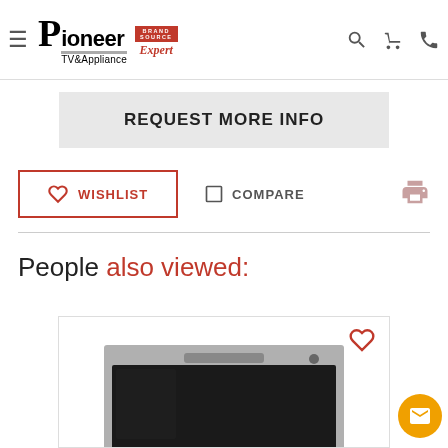Pioneer TV & Appliance — Brand Source Expert
REQUEST MORE INFO
WISHLIST
COMPARE
People also viewed:
[Figure (photo): Product card showing a wall oven or appliance with black glass door and stainless steel trim, with a heart/wishlist icon in the top right corner]